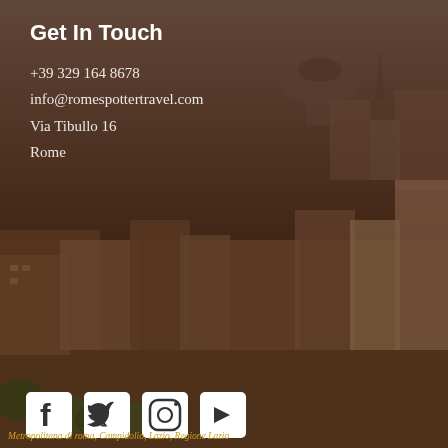Get In Touch
+39 329 164 8678
info@romespottertravel.com
Via Tibullo 16
Rome
[Figure (illustration): Social media icons: Facebook, Twitter, Instagram, YouTube]
[Figure (photo): Aerial view of Rome cityscape with dome of St. Peter's Basilica in background, warm dusky tones with dark overlay]
This website uses cookies to ensure you get the best experience on our website.
Learn more
GOT IT!
Metropolitana di roma, Campidolio, Lazio, Regione Lazio